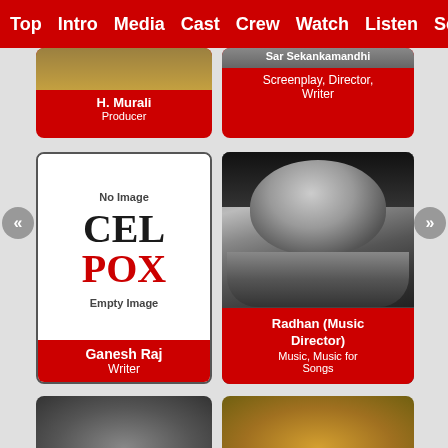Top  Intro  Media  Cast  Crew  Watch  Listen  Sc
[Figure (photo): Card for H. Murali, Producer - partially visible at top]
[Figure (photo): Card for Screenplay, Director, Writer - partially visible at top]
[Figure (photo): No Image placeholder card for Ganesh Raj, Writer - shows CEL POX text logo]
[Figure (photo): Black and white photo card of Radhan (Music Director), Music, Music for Songs]
[Figure (photo): Partially visible bottom card on left]
[Figure (photo): Partially visible bottom card on right]